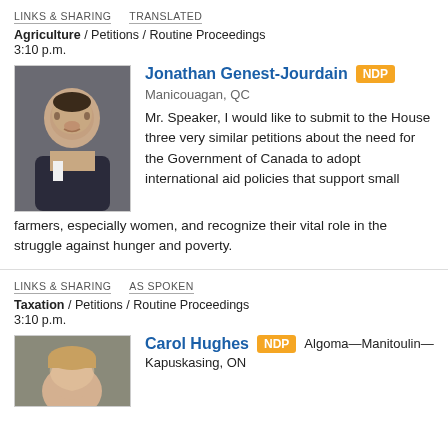LINKS & SHARING   TRANSLATED
Agriculture / Petitions / Routine Proceedings
3:10 p.m.
[Figure (photo): Headshot photo of Jonathan Genest-Jourdain]
Jonathan Genest-Jourdain NDP
Manicouagan, QC
Mr. Speaker, I would like to submit to the House three very similar petitions about the need for the Government of Canada to adopt international aid policies that support small farmers, especially women, and recognize their vital role in the struggle against hunger and poverty.
LINKS & SHARING   AS SPOKEN
Taxation / Petitions / Routine Proceedings
3:10 p.m.
[Figure (photo): Headshot photo of Carol Hughes]
Carol Hughes NDP   Algoma—Manitoulin—Kapuskasing, ON